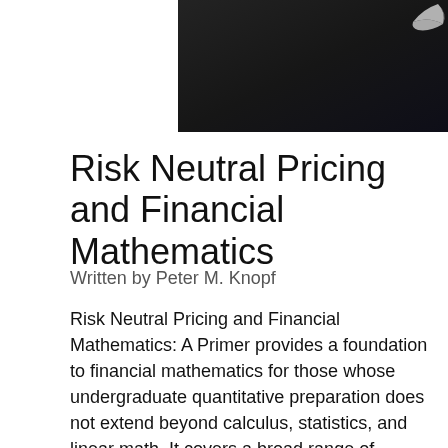[Figure (photo): Dark background photo (book/notepad) with a page curl visible in the upper right corner]
Risk Neutral Pricing and Financial Mathematics
Written by Peter M. Knopf
Risk Neutral Pricing and Financial Mathematics: A Primer provides a foundation to financial mathematics for those whose undergraduate quantitative preparation does not extend beyond calculus, statistics, and linear math. It covers a broad range of foundation topics related to financial modeling, including probability, discrete and continuous time and space valuation